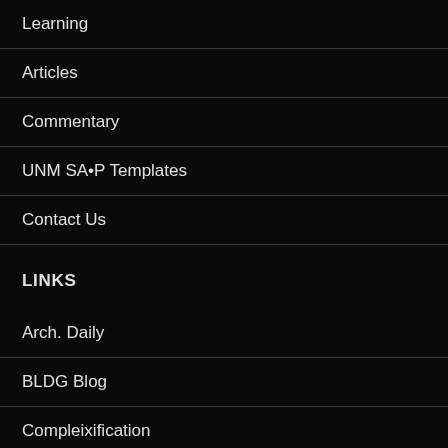Learning
Articles
Commentary
UNM SA•P Templates
Contact Us
LINKS
Arch. Daily
BLDG Blog
Compleixification
Coplanar
Electric Sheep